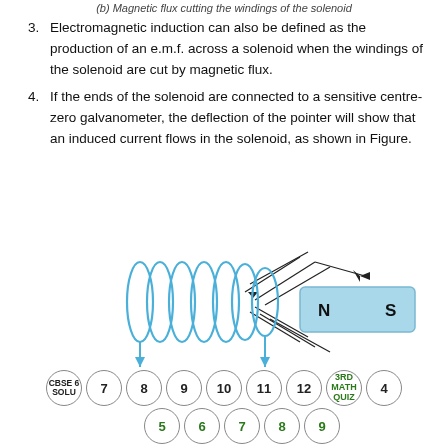(b) Magnetic flux cutting the windings of the solenoid
3. Electromagnetic induction can also be defined as the production of an e.m.f. across a solenoid when the windings of the solenoid are cut by magnetic flux.
4. If the ends of the solenoid are connected to a sensitive centre-zero galvanometer, the deflection of the pointer will show that an induced current flows in the solenoid, as shown in Figure.
[Figure (illustration): A solenoid coil (blue spiral winding) with magnetic flux lines from a bar magnet (labeled N and S), arrows showing flux direction toward the solenoid, and two blue arrows pointing downward at each end of the solenoid.]
CBSE 6 SOLU  7  8  9  10  11  12  3RD MATH QUIZ  4  5  6  7  8  9